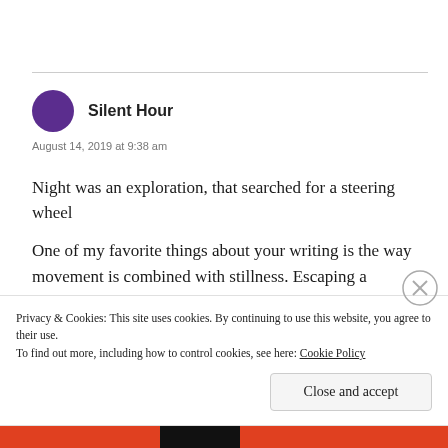Silent Hour
August 14, 2019 at 9:38 am
Night was an exploration, that searched for a steering wheel
One of my favorite things about your writing is the way movement is combined with stillness. Escaping a landscape but not escaping the self.
Privacy & Cookies: This site uses cookies. By continuing to use this website, you agree to their use.
To find out more, including how to control cookies, see here: Cookie Policy
Close and accept